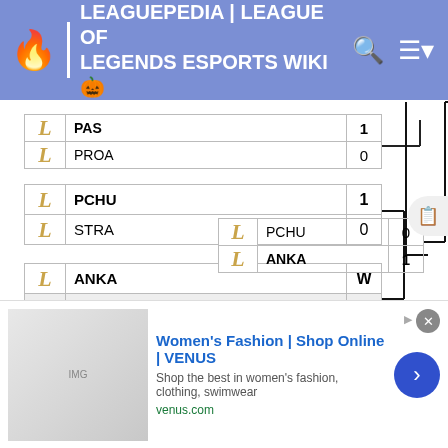LEAGUEPEDIA | LEAGUE OF LEGENDS ESPORTS WIKI
[Figure (flowchart): Tournament bracket showing match results. Top partial matches: PAS 1 vs PROA 0. Round: PCHU 1 vs STRA 0; ANKA W vs BYE -; Second round: PCHU 0 vs ANKA 1. Bottom: META 1 vs UTP 0; Second round: META 1.]
[Figure (infographic): Advertisement banner for Women's Fashion | Shop Online | VENUS. Shop the best in women's fashion, clothing, swimwear. venus.com]